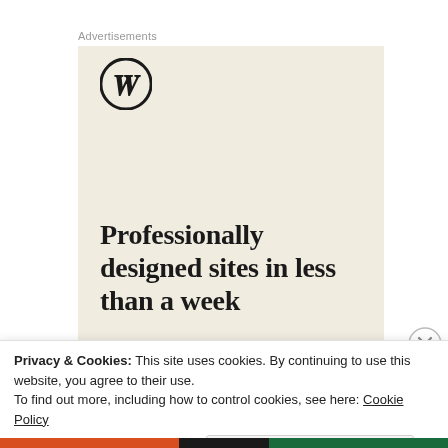Advertisements
[Figure (logo): WordPress logo — circular W mark in black on beige background, with large serif headline: 'Professionally designed sites in less than a week' and a green CTA button bar]
Privacy & Cookies: This site uses cookies. By continuing to use this website, you agree to their use.
To find out more, including how to control cookies, see here: Cookie Policy
Close and accept